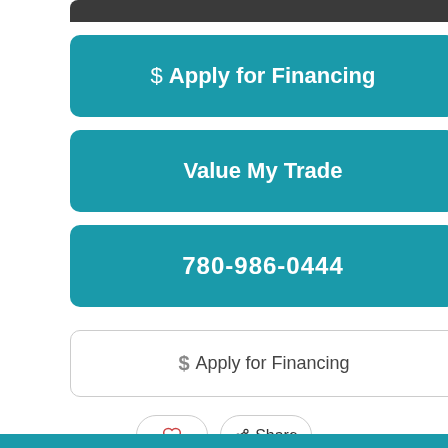$ Apply for Financing
Value My Trade
780-986-0444
$ Apply for Financing
Share